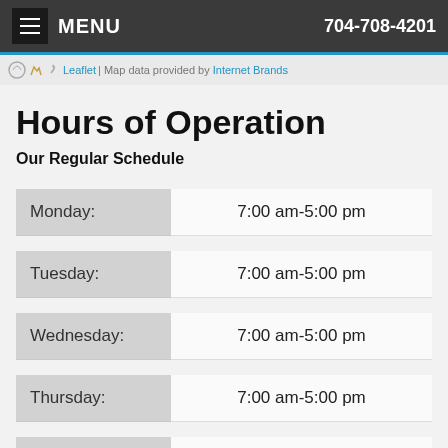MENU   704-708-4201
Leaflet | Map data provided by Internet Brands
Hours of Operation
Our Regular Schedule
| Day | Hours |
| --- | --- |
| Monday: | 7:00 am-5:00 pm |
| Tuesday: | 7:00 am-5:00 pm |
| Wednesday: | 7:00 am-5:00 pm |
| Thursday: | 7:00 am-5:00 pm |
| Friday: | Closed |
| Saturday: |  |
Accessibility View  ×